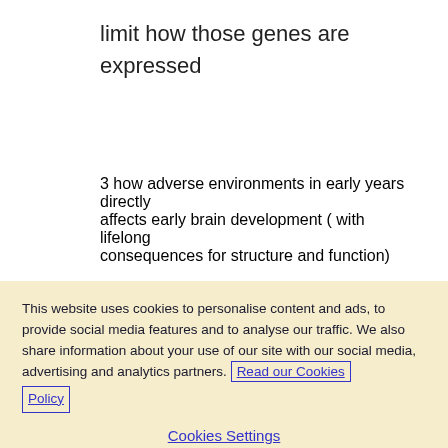limit how those genes are expressed
3 how adverse environments in early years directly affects early brain development ( with lifelong consequences for structure and function)
This website uses cookies to personalise content and ads, to provide social media features and to analyse our traffic. We also share information about your use of our site with our social media, advertising and analytics partners. Read our Cookies Policy
Cookies Settings
Reject All
Accept All Cookies